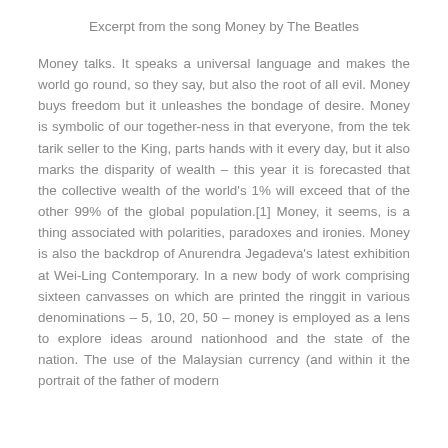Excerpt from the song Money by The Beatles
Money talks. It speaks a universal language and makes the world go round, so they say, but also the root of all evil. Money buys freedom but it unleashes the bondage of desire. Money is symbolic of our together-ness in that everyone, from the tek tarik seller to the King, parts hands with it every day, but it also marks the disparity of wealth – this year it is forecasted that the collective wealth of the world's 1% will exceed that of the other 99% of the global population.[1] Money, it seems, is a thing associated with polarities, paradoxes and ironies. Money is also the backdrop of Anurendra Jegadeva's latest exhibition at Wei-Ling Contemporary. In a new body of work comprising sixteen canvasses on which are printed the ringgit in various denominations – 5, 10, 20, 50 – money is employed as a lens to explore ideas around nationhood and the state of the nation. The use of the Malaysian currency (and within it the portrait of the father of modern